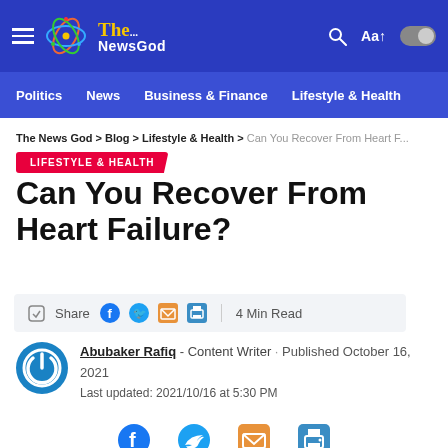The NewsGod — Politics | News | Business & Finance | Lifestyle & Health
The News God > Blog > Lifestyle & Health > Can You Recover From Heart F...
LIFESTYLE & HEALTH
Can You Recover From Heart Failure?
Share  4 Min Read
Abubaker Rafiq - Content Writer · Published October 16, 2021
Last updated: 2021/10/16 at 5:30 PM